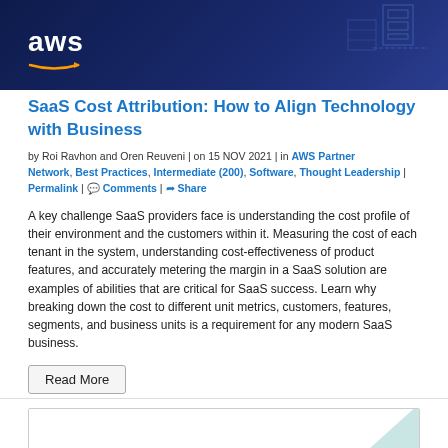[Figure (illustration): AWS branded header banner with dark navy/blue gradient background, AWS logo with orange arrow on left, and abstract architectural/server graphic on right]
SaaS Cost Attribution: How to Align Technology with Business
by Roi Ravhon and Oren Reuveni | on 15 NOV 2021 | in AWS Partner Network, Best Practices, Intermediate (200), Software, Thought Leadership | Permalink | Comments | Share
A key challenge SaaS providers face is understanding the cost profile of their environment and the customers within it. Measuring the cost of each tenant in the system, understanding cost-effectiveness of product features, and accurately metering the margin in a SaaS solution are examples of abilities that are critical for SaaS success. Learn why breaking down the cost to different unit metrics, customers, features, segments, and business units is a requirement for any modern SaaS business.
Read More
[Figure (illustration): Partial view of next article card with white background and teal decorative corner element, cut off at bottom of page]